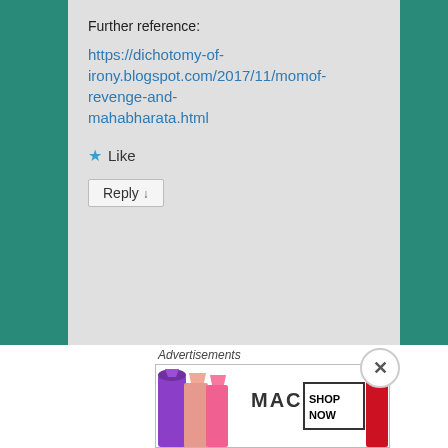Further reference:
https://dichotomy-of-irony.blogspot.com/2017/11/momof-revenge-and-mahabharata.html
★ Like
Reply ↓
[Figure (photo): Dark painting/photo showing a feather or bird on dark background - avatar for Genevieve Woods]
Genevieve Woods on August 14.
Advertisements
[Figure (photo): MAC cosmetics advertisement showing lipsticks and SHOP NOW button]